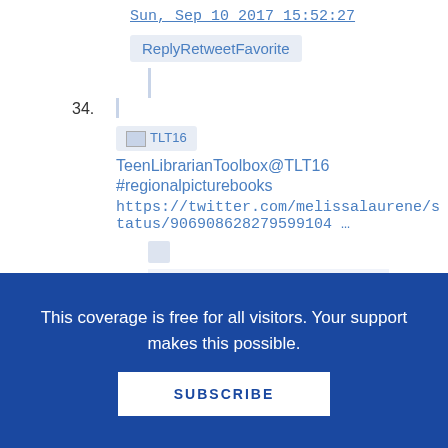Sun, Sep 10 2017 15:52:27
ReplyRetweetFavorite
34. TLT16 TeenLibrarianToolbox@TLT16 #regionalpicturebooks https://twitter.com/melissalaurene/status/906908628279599104 …
Sun, Sep 10 2017 15:55:06
This coverage is free for all visitors. Your support makes this possible.
SUBSCRIBE